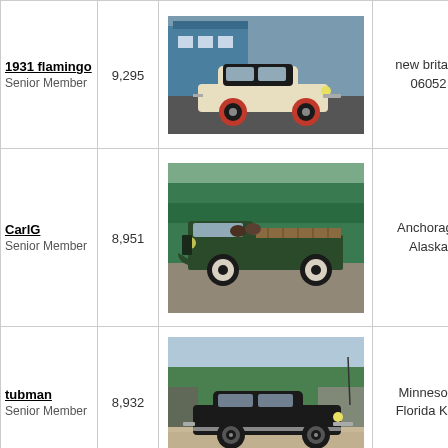| User | Posts | Image | Location |
| --- | --- | --- | --- |
| 1931 flamingo
Senior Member | 9,295 | [classic car photo] | new britain,
06052 |
| CarlG
Senior Member | 8,951 | [old truck photo] | Anchorage
Alaska |
| tubman
Senior Member | 8,932 | [vintage car photo] | Minnesota
Florida Key |
|  |  | [partial photo] |  |